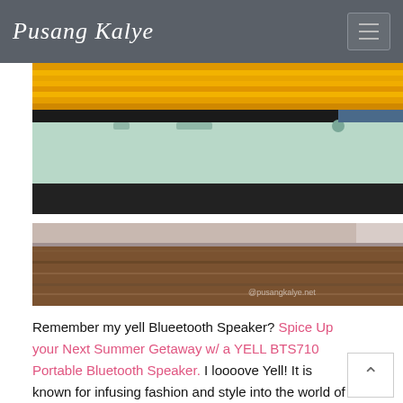Pusang Kalye
[Figure (photo): Close-up photo of a yellow/orange notebook or case stacked with a light mint/green tablet or device, shot from the side showing the edges and buttons]
[Figure (photo): Close-up photo of a slim device edge resting on a wooden surface, watermarked with @pusangkalye.net]
Remember my yell Blueetooth Speaker? Spice Up your Next Summer Getaway w/ a YELL BTS710 Portable Bluetooth Speaker. I loooove Yell! It is known for infusing fashion and style into the world of mobile accessories bringing products to the market that allows people to express their personal style!